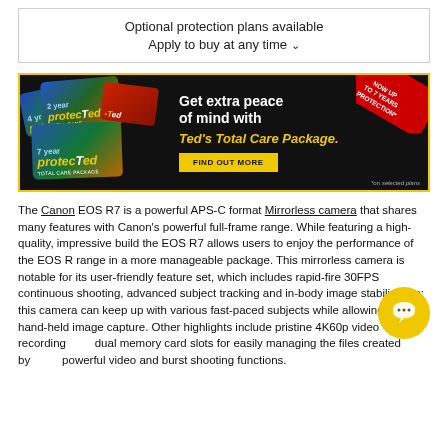Optional protection plans available
Apply to buy at any time ∨
[Figure (illustration): Ted's Total Care Package promotional banner. Dark background with yellow border. Shows stacked ProtecTed care plan cards (4 year, 2 year, 7 year) on the left. Text reads: Get extra peace of mind with Ted's Total Care Package. Red corner tag: NOW UP TO 7 YEARS PROTECTION*. Yellow button: FIND OUT MORE. Footnote: *on selected plans.]
The Canon EOS R7 is a powerful APS-C format Mirrorless camera that shares many features with Canon's powerful full-frame range. While featuring a high-quality, impressive build the EOS R7 allows users to enjoy the performance of the EOS R range in a more manageable package. This mirrorless camera is notable for its user-friendly feature set, which includes rapid-fire 30FPS continuous shooting, advanced subject tracking and in-body image stabilisation; this camera can keep up with various fast-paced subjects while allowing simple hand-held image capture. Other highlights include pristine 4K60p video recording and dual memory card slots for easily managing the files created by these powerful video and burst shooting functions.